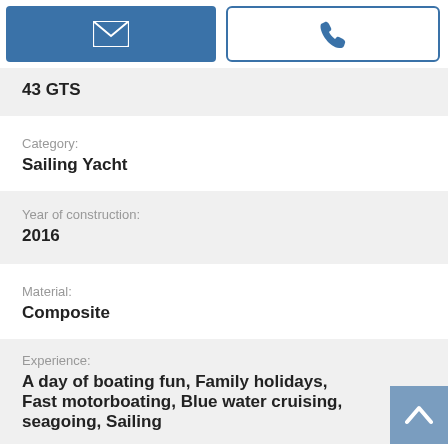[Figure (screenshot): Two buttons: a blue email button with envelope icon and a white phone button with phone icon]
43 GTS
Category:
Sailing Yacht
Year of construction:
2016
Material:
Composite
Experience:
A day of boating fun, Family holidays, Fast motorboating, Blue water cruising, seagoing, Sailing